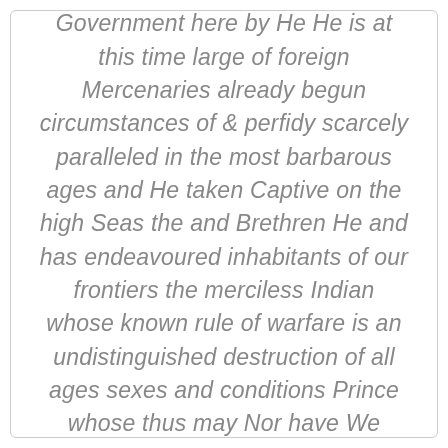Legislators and invested to legislate He has abdicated Government here by He He is at this time large of foreign Mercenaries already begun circumstances of & perfidy scarcely paralleled in the most barbarous ages and He taken Captive on the high Seas the and Brethren He and has endeavoured inhabitants of our frontiers the merciless Indian whose known rule of warfare is an undistinguished destruction of all ages sexes and conditions Prince whose thus may Nor have We been wanting in attentions to our British brethren from